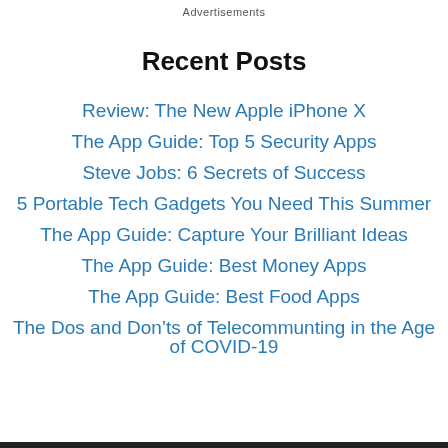Advertisements
Recent Posts
Review: The New Apple iPhone X
The App Guide: Top 5 Security Apps
Steve Jobs: 6 Secrets of Success
5 Portable Tech Gadgets You Need This Summer
The App Guide: Capture Your Brilliant Ideas
The App Guide: Best Money Apps
The App Guide: Best Food Apps
The Dos and Don’ts of Telecommunting in the Age of COVID-19